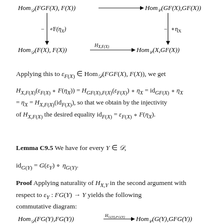[Figure (math-figure): Commutative diagram showing Hom_D(FGF(X),F(X)) -> Hom_C(GF(X),GF(X)) on top row, vertical arrows -∘F(η_X) and -∘η_X, and Hom_D(F(X),F(X)) -> Hom_C(X,GF(X)) on bottom row with H_{X,F(X)} label.]
Applying this to ε_{F(X)} ∈ Hom_D(FGF(X), F(X)), we get
Lemma C9.5 We have for every Y ∈ D,
Proof Applying naturality of H_{X,Y} in the second argument with respect to ε_Y : FG(Y) → Y yields the following commutative diagram:
[Figure (math-figure): Bottom partial commutative diagram: Hom_D(FG(Y), FG(Y)) -H_{G(Y),FG(Y)}-> Hom_C(G(Y), GFG(Y))]